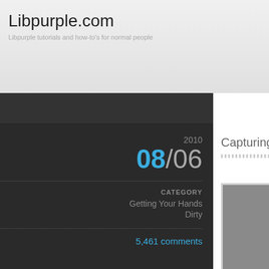Libpurple.com — Libpurple tutorials and how-to's for normal people
2010
08/06
CATEGORY
Getting Your Hands Dirty
5,461 comments
Capturing IM Events
[Figure (photo): Close-up photo of two hands covered in dark dirt/grime, palms facing up, person wearing a dark shirt, with 'RETURN TOP' text overlaid vertically on the right side]